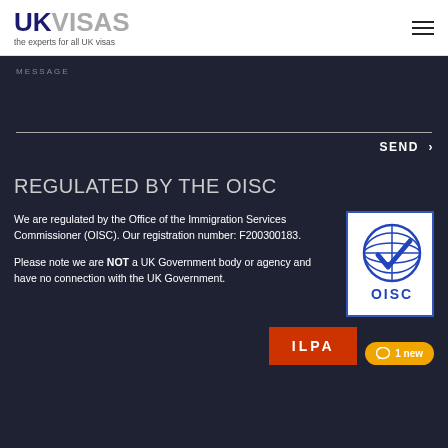[Figure (logo): UKVISAS logo — UK in dark blue bold, VISAS in grey bold, tagline: the experts for all UK visas]
MESSAGE
SEND ›
REGULATED BY THE OISC
We are regulated by the Office of the Immigration Services Commissioner (OISC). Our registration number: F200300183.

Please note we are NOT a UK Government body or agency and have no connection with the UK Government.
[Figure (logo): OISC logo — globe with checkmark and OISC text in blue on white background]
[Figure (logo): ILRA logo partial — orange/red background with white ILPA text, partially visible]
1 new